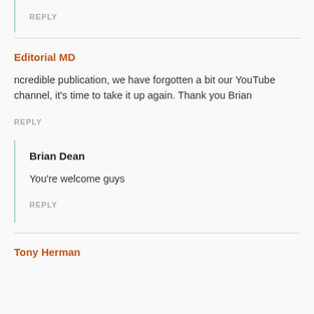REPLY
Editorial MD
ncredible publication, we have forgotten a bit our YouTube channel, it's time to take it up again. Thank you Brian
REPLY
Brian Dean
You're welcome guys
REPLY
Tony Herman